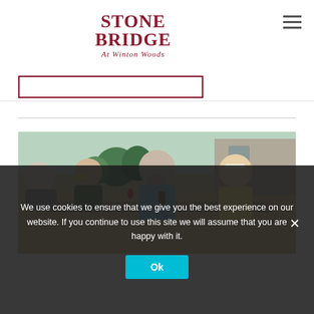[Figure (logo): Stone Bridge At Winton Woods logo in dark red serif text]
[Figure (photo): Group of senior adults socializing outdoors at a table, smiling and laughing in a sunny backyard setting]
We use cookies to ensure that we give you the best experience on our website. If you continue to use this site we will assume that you are happy with it.